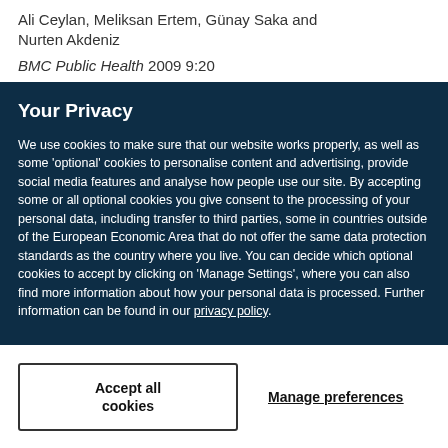Ali Ceylan, Meliksan Ertem, Günay Saka and Nurten Akdeniz
BMC Public Health 2009 9:20
Your Privacy
We use cookies to make sure that our website works properly, as well as some 'optional' cookies to personalise content and advertising, provide social media features and analyse how people use our site. By accepting some or all optional cookies you give consent to the processing of your personal data, including transfer to third parties, some in countries outside of the European Economic Area that do not offer the same data protection standards as the country where you live. You can decide which optional cookies to accept by clicking on 'Manage Settings', where you can also find more information about how your personal data is processed. Further information can be found in our privacy policy.
Accept all cookies
Manage preferences